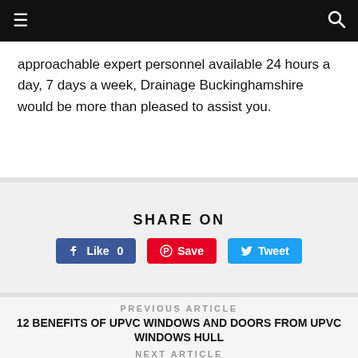☰  [search icon]
approachable expert personnel available 24 hours a day, 7 days a week, Drainage Buckinghamshire would be more than pleased to assist you.
SHARE ON
Like 0  Save  Tweet
PREVIOUS ARTICLE
12 BENEFITS OF UPVC WINDOWS AND DOORS FROM UPVC WINDOWS HULL
NEXT ARTICLE
5 BENEFITS OF USING SKIP HIRE SERVICES 5 BENEFITS OF USING SKIP HIRE DEWSBURY IN WEST YORKSHIRE